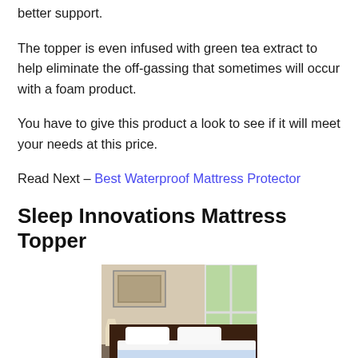better support.
The topper is even infused with green tea extract to help eliminate the off-gassing that sometimes will occur with a foam product.
You have to give this product a look to see if it will meet your needs at this price.
Read Next – Best Waterproof Mattress Protector
Sleep Innovations Mattress Topper
[Figure (photo): A bedroom scene showing a mattress topper on a dark wooden bed frame, with white pillows, a lamp on a nightstand, framed artwork on the wall, and a bright window showing greenery outside.]